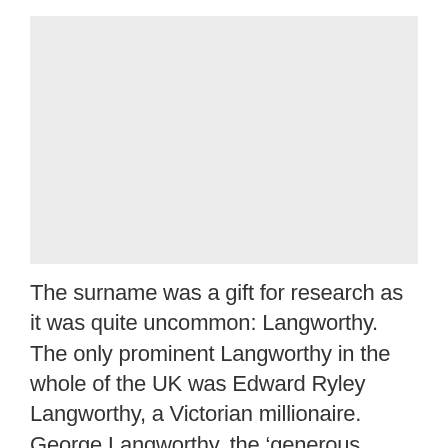[Figure (other): Blank light grey rectangular placeholder image]
The surname was a gift for research as it was quite uncommon: Langworthy. The only prominent Langworthy in the whole of the UK was Edward Ryley Langworthy, a Victorian millionaire. George Langworthy, the ‘generous expat’ was one of the nephews of this millionaire and the first in this…